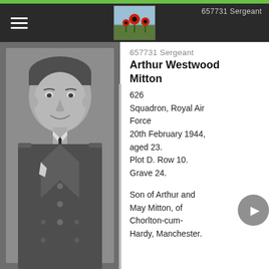657731 Sergeant
[Figure (photo): Black and white portrait photograph of Arthur Westwood Mitton in RAF uniform, smiling, looking slightly to the right.]
657731 Sergeant Arthur Westwood Mitton
626 Squadron, Royal Air Force
20th February 1944, aged 23.
Plot D. Row 10. Grave 24.
Son of Arthur and May Mitton, of Chorlton-cum-Hardy, Manchester.